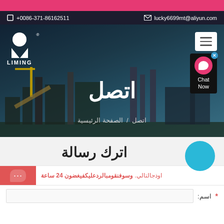Pink banner header
+0086-371-86162511   lucky6699mt@aliyun.com
[Figure (photo): Industrial factory/plant hero image with LIMING logo, menu button, chat button, showing large industrial equipment and structures in background with blue sky]
اتصل
الصفحة الرئيسية / اتصل
اترك رسالة
اوذجالتالي. وسوفنقومبالردعليكفيغضون 24 ساعة
اسم: *